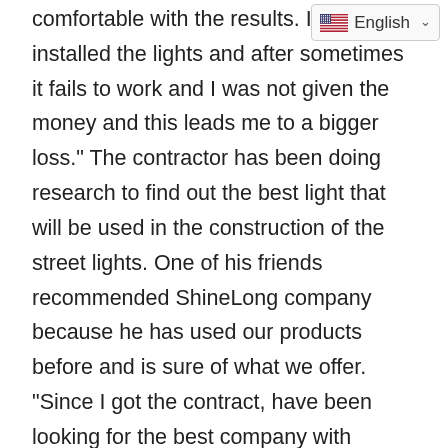[Figure (screenshot): Language selector dropdown showing US flag and 'English' with a chevron]
comfortable with the results. I back I installed the lights and after sometimes it fails to work and I was not given the money and this leads me to a bigger loss." The contractor has been doing research to find out the best light that will be used in the construction of the street lights. One of his friends recommended ShineLong company because he has used our products before and is sure of what we offer. "Since I got the contract, have been looking for the best company with quality lighting and I share the story with my friends. One of my close friends refer me to ShineLong and assured me that it was the best company that deals with lighting. I decided to try it because I know my friend like the best thing." We receive the inquiry from our client, and we promise the